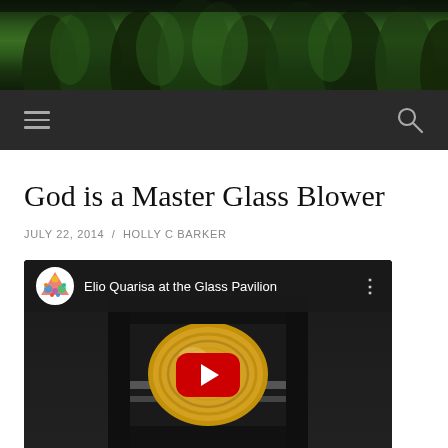[Figure (photo): Website header with dark green tree/forest photograph]
Navigation bar with hamburger menu icon and search icon
God is a Master Glass Blower
JULY 22, 2014  /  HOLLY C BARKER
[Figure (screenshot): YouTube video thumbnail for 'Elio Quarisa at the Glass Pavilion' showing a swirling glass object with a red YouTube play button overlay]